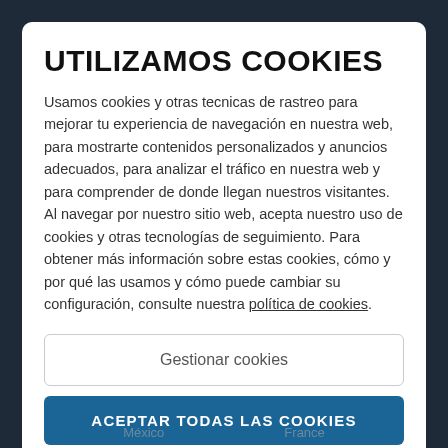UTILIZAMOS COOKIES
Usamos cookies y otras tecnicas de rastreo para mejorar tu experiencia de navegación en nuestra web, para mostrarte contenidos personalizados y anuncios adecuados, para analizar el tráfico en nuestra web y para comprender de donde llegan nuestros visitantes. Al navegar por nuestro sitio web, acepta nuestro uso de cookies y otras tecnologías de seguimiento. Para obtener más información sobre estas cookies, cómo y por qué las usamos y cómo puede cambiar su configuración, consulte nuestra política de cookies.
Gestionar cookies
ACEPTAR TODAS LAS COOKIES